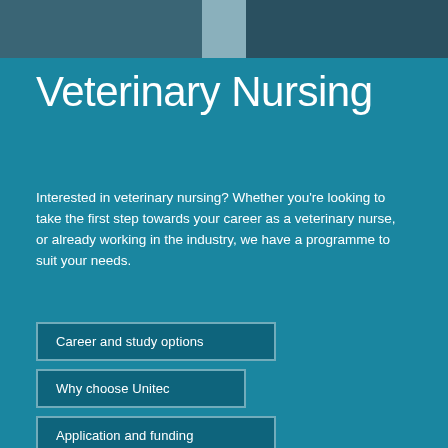[Figure (photo): Partial photo strip at the top of the page showing veterinary/medical setting, mostly obscured.]
Veterinary Nursing
Interested in veterinary nursing? Whether you're looking to take the first step towards your career as a veterinary nurse, or already working in the industry, we have a programme to suit your needs.
Career and study options
Why choose Unitec
Application and funding
Research and Enterprise
Under 25s
Contact us
FAQs